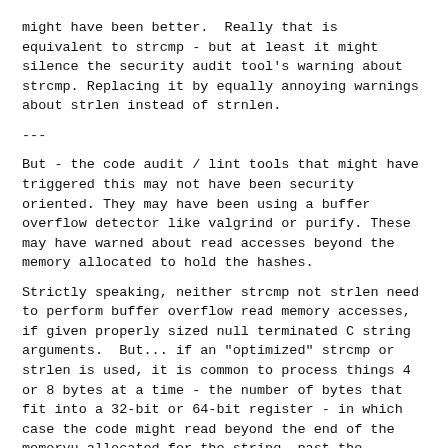might have been better.  Really that is equivalent to strcmp - but at least it might silence the security audit tool's warning about strcmp. Replacing it by equally annoying warnings about strlen instead of strnlen.
---
But - the code audit / lint tools that might have triggered this may not have been security oriented. They may have been using a buffer overflow detector like valgrind or purify. These may have warned about read accesses beyond the memory allocated to hold the hashes.
Strictly speaking, neither strcmp not strlen need to perform buffer overflow read memory accesses, if given properly sized null terminated C string arguments.  But... if an "optimized" strcmp or strlen is used, it is common to process things 4 or 8 bytes at a time - the number of bytes that fit into a 32-bit or 64-bit register - in which case the code might read beyond the end of the memoryu allocated for the string, past the terminating null byte.  In past lives, when I